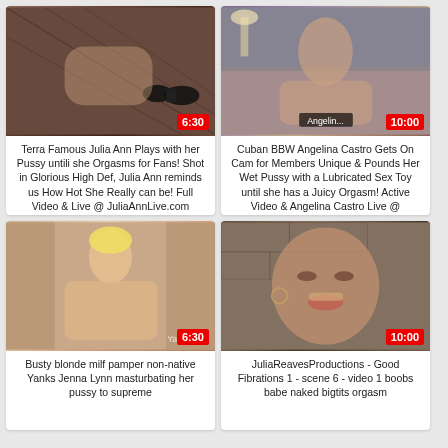[Figure (photo): Thumbnail of Julia Ann in fishnets with duration badge 6:30]
Terra Famous Julia Ann Plays with her Pussy untili she Orgasms for Fans! Shot in Glorious High Def, Julia Ann reminds us How Hot She Really can be! Full Video & Live @ JuliaAnnLive.com
Orgasm
[Figure (photo): Thumbnail of Angelina Castro BBW on bed with duration badge 10:00]
Cuban BBW Angelina Castro Gets On Cam for Members Unique & Pounds Her Wet Pussy with a Lubricated Sex Toy until she has a Juicy Orgasm! Active Video & Angelina Castro Live @ AngelinaCastroLive.com
BBW
Orgasm
[Figure (photo): Thumbnail of busty blonde milf (Yanks Jenna Lynn) masturbating with duration badge 6:30]
Busty blonde milf pamper non-native Yanks Jenna Lynn masturbating her pussy to supreme
[Figure (photo): Thumbnail of Julia Reaves close-up face with duration badge 10:00]
JuliaReavesProductions - Good Fibrations 1 - scene 6 - video 1 boobs babe naked bigtits orgasm